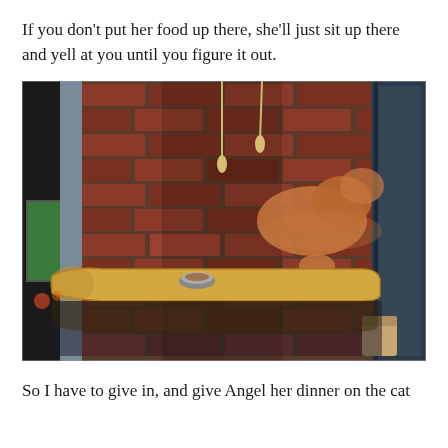If you don't put her food up there, she'll just sit up there and yell at you until you figure it out.
[Figure (photo): A cat (orange/brown fur) crouching on a wall-mounted cat shelf in front of a brick wall. The shelf appears to be a corner shelf. The setting looks like an indoor room or café with a green screen/TV visible on the left and a glass door on the right.]
So I have to give in, and give Angel her dinner on the cat